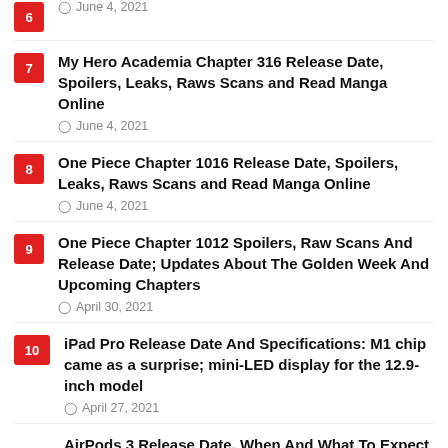6 — Leaks, Raws Scans and Read Manga Online — June 4, 2021
7 — My Hero Academia Chapter 316 Release Date, Spoilers, Leaks, Raws Scans and Read Manga Online — June 4, 2021
8 — One Piece Chapter 1016 Release Date, Spoilers, Leaks, Raws Scans and Read Manga Online — June 4, 2021
9 — One Piece Chapter 1012 Spoilers, Raw Scans And Release Date; Updates About The Golden Week And Upcoming Chapters — April 30, 2021
10 — iPad Pro Release Date And Specifications: M1 chip came as a surprise; mini-LED display for the 12.9-inch model — April 27, 2021
AirPods 3 Release Date, When And What To Expect